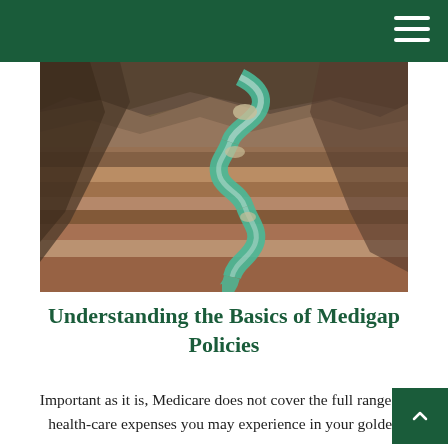[Figure (photo): Aerial photograph of the Colorado River winding through the Grand Canyon, showing red rock canyon walls and a turquoise-green river snaking through the landscape.]
Understanding the Basics of Medigap Policies
Important as it is, Medicare does not cover the full range of health-care expenses you may experience in your golden